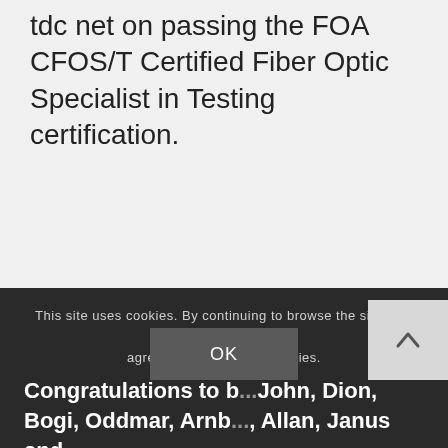tdc net on passing the FOA CFOS/T Certified Fiber Optic Specialist in Testing certification.
This site uses cookies. By continuing to browse the site, you are agreeing to our use of cookies.
Congratulations to b... John, Dion, Bogi, Oddmar, Arnb..., Allan, Janus and Morten all from FT net Howb on the Fa...